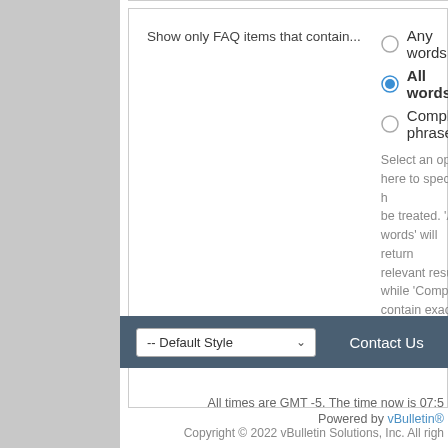Show only FAQ items that contain...
Any words
All words
Complete phrase
Select an option here to specify how the search criteria should be treated. 'Any words' will return the most, but not necessarily relevant results, while 'Complete phrase' will only return results that contain exactly what you are searching for.
-- Default Style
Contact Us
All times are GMT -5. The time now is 07:5
Powered by vBulletin® Copyright © 2022 vBulletin Solutions, Inc. All righ